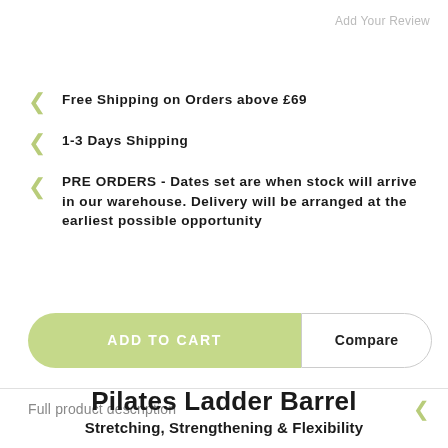Add Your Review
Free Shipping on Orders above £69
1-3 Days Shipping
PRE ORDERS - Dates set are when stock will arrive in our warehouse. Delivery will be arranged at the earliest possible opportunity
ADD TO CART
Compare
Full product description
Pilates Ladder Barrel
Stretching, Strengthening & Flexibility